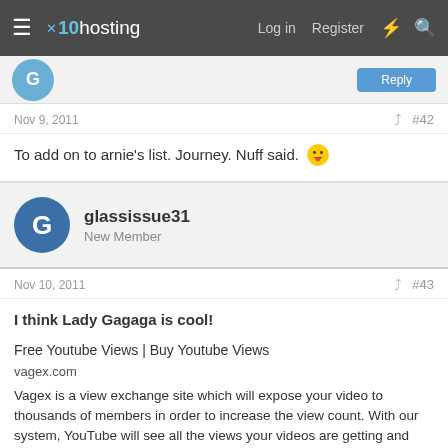x10hosting — Log in  Register
Nov 9, 2011  #42
To add on to arnie's list. Journey. Nuff said. 😛
glassissue31
New Member
Nov 10, 2011  #43
I think Lady Gagaga is cool!

Free Youtube Views | Buy Youtube Views
vagex.com
Vagex is a view exchange site which will expose your video to thousands of members in order to increase the view count. With our system, YouTube will see all the views your videos are getting and promote it even more, having a sort of viral effect.